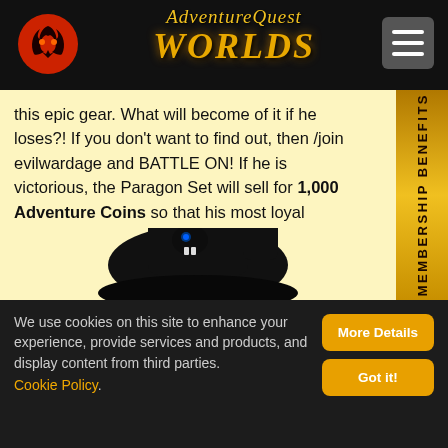AdventureQuest Worlds
this epic gear. What will become of it if he loses?! If you don't want to find out, then /join evilwardage and BATTLE ON! If he is victorious, the Paragon Set will sell for 1,000 Adventure Coins so that his most loyal followers can show their allegiance.
[Figure (illustration): Dark armored fantasy character with glowing blue eyes, horns, and dark spiked armor — appears to be a villain/boss character from AdventureQuest Worlds]
We use cookies on this site to enhance your experience, provide services and products, and display content from third parties. Cookie Policy.